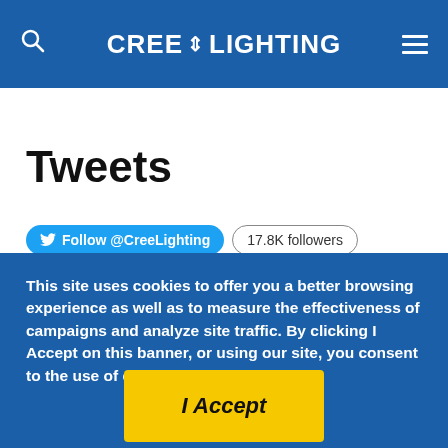CREE LIGHTING
Tweets
Follow @CreeLighting  17.8K followers
This site uses cookies to offer you a better browsing experience as well as to measure the effectiveness of campaigns and analyze site traffic. By clicking I Accept on this banner, or using our site, you consent to the use of cookies. Learn more
I Accept